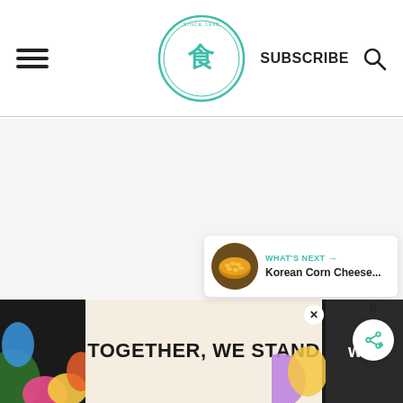Header navigation with hamburger menu, logo, SUBSCRIBE, and search icon
[Figure (logo): Circular green logo with Chinese character for food (食) in center, decorative border and text around ring]
SUBSCRIBE
[Figure (illustration): Light gray main content area (blank/loading)]
[Figure (infographic): Green heart like button (favorite) with count 6 below, and green share button]
6
[Figure (screenshot): What's Next card showing thumbnail of Korean Corn Cheese dish]
WHAT'S NEXT → Korean Corn Cheese...
[Figure (infographic): Advertisement banner with dark background reading TOGETHER, WE STAND with colorful shapes and WW logo on right]